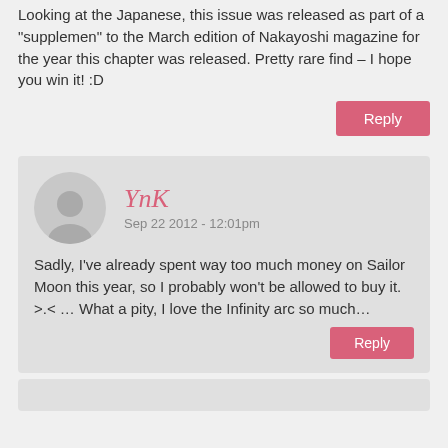Looking at the Japanese, this issue was released as part of a "supplemen" to the March edition of Nakayoshi magazine for the year this chapter was released. Pretty rare find – I hope you win it! :D
Reply
YnK
Sep 22 2012 - 12:01pm
Sadly, I've already spent way too much money on Sailor Moon this year, so I probably won't be allowed to buy it. >.< … What a pity, I love the Infinity arc so much…
Reply